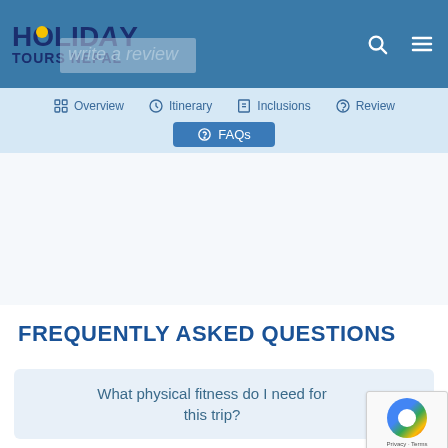HOLIDAY TOURS NEPAL
Write a review
Overview | Itinerary | Inclusions | Review
FAQs
FREQUENTLY ASKED QUESTIONS
What physical fitness do I need for this trip?